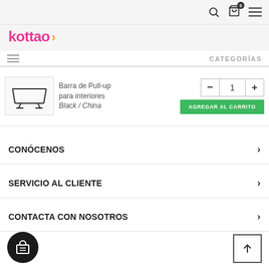kottao - navigation bar with search, cart (0), and menu icons
[Figure (logo): kottao logo in pink/magenta text with orange arrow]
CATEGORÍAS
[Figure (photo): Pull-up bar for indoors product thumbnail sketch]
Barra de Pull-up para interiores Black / China
Quantity selector: - 1 + and AGREGAR AL CARRITO button
CONÓCENOS
SERVICIO AL CLIENTE
CONTACTA CON NOSOTROS
Floating cart button and scroll-to-top button